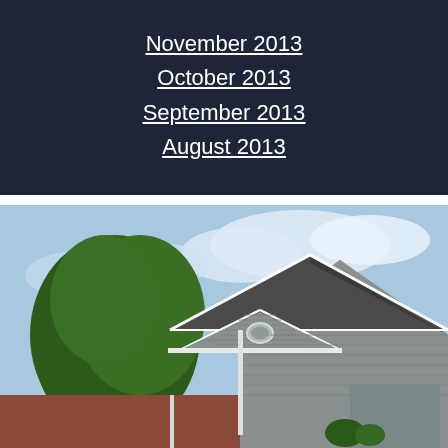November 2013
October 2013
September 2013
August 2013
[Figure (photo): Exterior photo of a residential house showing roof gables, gray vinyl siding with a circular vent, brick lower facade, white trim, and a large green tree on the left, with a partly cloudy sky in the background.]